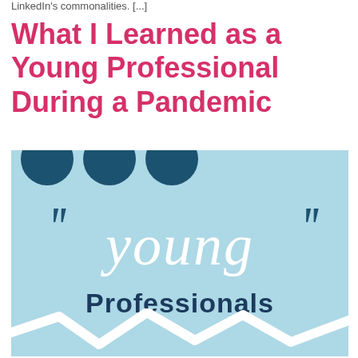LinkedIn's commonalities. [...]
What I Learned as a Young Professional During a Pandemic
[Figure (illustration): Light blue illustration with dark teal circles at top, large cursive white 'young' text in center, dark navy 'Professionals' text below, decorative quotation-mark curves on left and right sides, and a white zigzag lightning bolt shape at the bottom.]